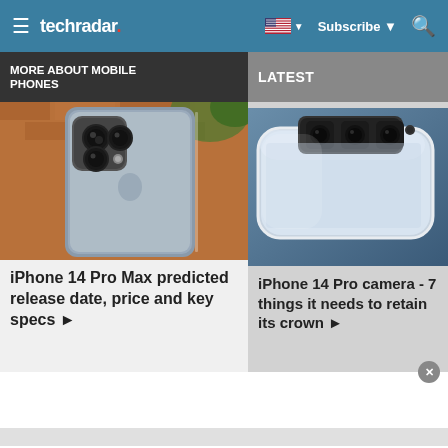techradar — Subscribe | Search
MORE ABOUT MOBILE PHONES
LATEST
[Figure (photo): Back of iPhone 14 Pro Max showing triple camera system, silver/graphite color, against wooden fence background]
iPhone 14 Pro Max predicted release date, price and key specs ▶
[Figure (photo): iPhone 14 Pro render showing chrome/silver side frame and triple camera bump from above angle on blue background]
iPhone 14 Pro camera - 7 things it needs to retain its crown ▶